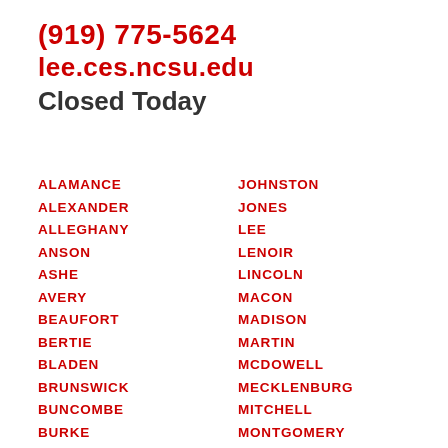(919) 775-5624
lee.ces.ncsu.edu
Closed Today
ALAMANCE
ALEXANDER
ALLEGHANY
ANSON
ASHE
AVERY
BEAUFORT
BERTIE
BLADEN
BRUNSWICK
BUNCOMBE
BURKE
CABARRUS
CALDWELL
JOHNSTON
JONES
LEE
LENOIR
LINCOLN
MACON
MADISON
MARTIN
MCDOWELL
MECKLENBURG
MITCHELL
MONTGOMERY
MOORE
NASH
NEW HANOVER